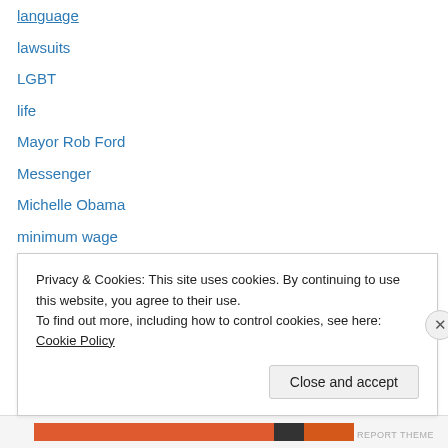language
lawsuits
LGBT
life
Mayor Rob Ford
Messenger
Michelle Obama
minimum wage
movies
Mr Flowas
Mueller investigation
New Democratic Party of Ontario
New Year’s Eve
news
Privacy & Cookies: This site uses cookies. By continuing to use this website, you agree to their use. To find out more, including how to control cookies, see here: Cookie Policy
Close and accept